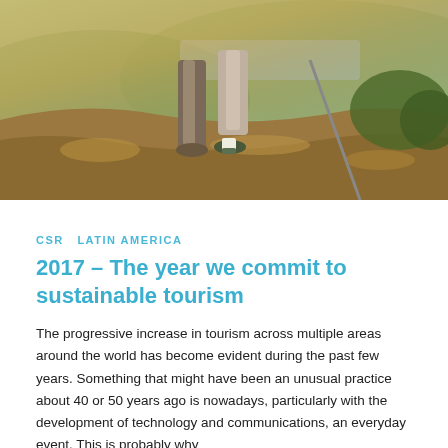[Figure (photo): Two people standing on a rocky hilltop with scenic landscape and city/water view in background, warm golden sunlight, hiking shoes visible in foreground]
CSR  LATIN AMERICA
2017 – The year we commit to sustainable tourism
The progressive increase in tourism across multiple areas around the world has become evident during the past few years. Something that might have been an unusual practice about 40 or 50 years ago is nowadays, particularly with the development of technology and communications, an everyday event. This is probably why